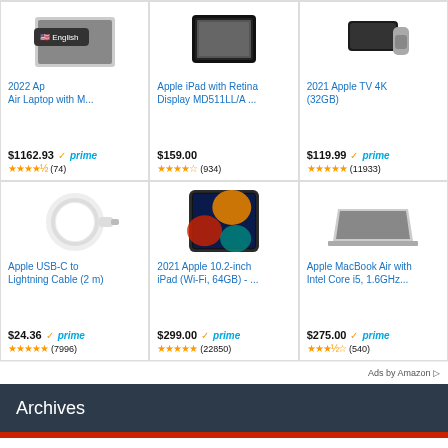[Figure (screenshot): Amazon product grid showing 6 Apple products with prices, Prime badges, star ratings, and review counts. Top row: 2022 Apple Air Laptop with M... ($1162.93, Prime, 4.5 stars, 74 reviews), Apple iPad with Retina Display MD511LL/A... ($159.00, 3.5 stars, 934 reviews), 2021 Apple TV 4K 32GB ($119.99, Prime, 5 stars, 11933 reviews). Bottom row: Apple USB-C to Lightning Cable 2m ($24.36, Prime, 5 stars, 7996 reviews), 2021 Apple 10.2-inch iPad Wi-Fi 64GB ($299.00, Prime, 5 stars, 22850 reviews), Apple MacBook Air with Intel Core i5 1.6GHz ($275.00, Prime, 3.5 stars, 540 reviews). Ads by Amazon footer. Archives section header in dark blue. Red bar at bottom.]